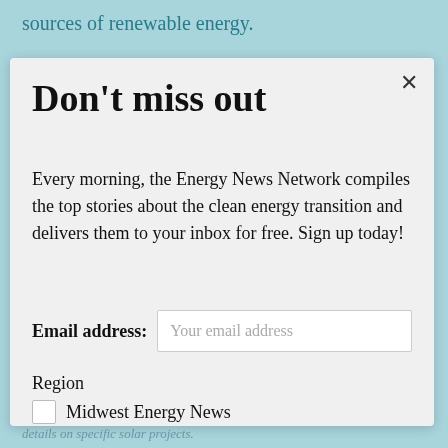sources of renewable energy.
Don't miss out
Every morning, the Energy News Network compiles the top stories about the clean energy transition and delivers them to your inbox for free. Sign up today!
Email address: Your email address
Region
Midwest Energy News
Southeast Energy News
details on specific solar projects.